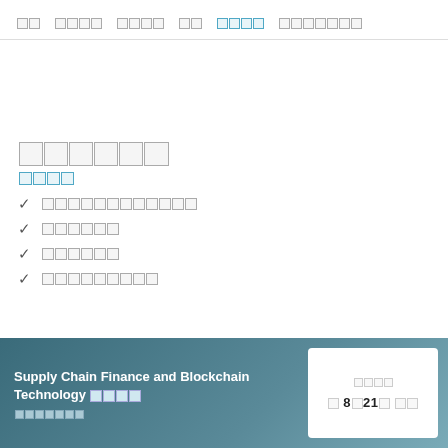□□  □□□□  □□□□  □□  □□□□  □□□□□□□
□□□□□□
□□□□
✓ □□□□□□□□□□□□
✓ □□□□□□
✓ □□□□□□
✓ □□□□□□□□□
Supply Chain Finance and Blockchain Technology □□□□ □□□□□□□
□□□□ □ 8□21□ □□